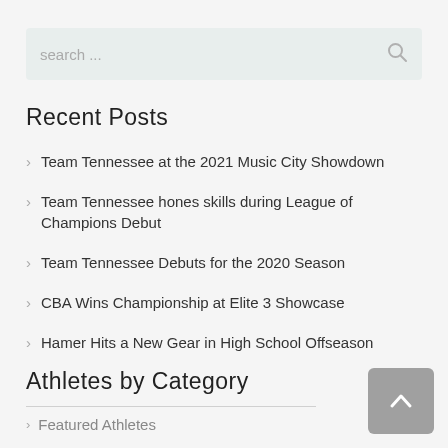search ...
Recent Posts
Team Tennessee at the 2021 Music City Showdown
Team Tennessee hones skills during League of Champions Debut
Team Tennessee Debuts for the 2020 Season
CBA Wins Championship at Elite 3 Showcase
Hamer Hits a New Gear in High School Offseason
Athletes by Category
Featured Athletes